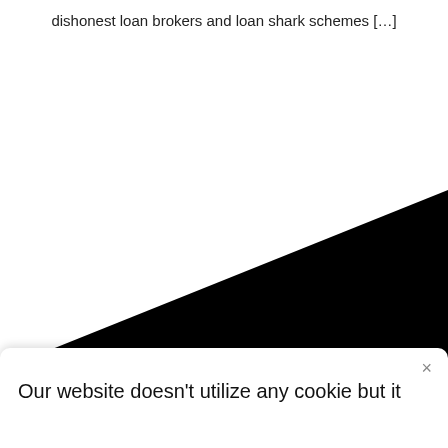dishonest loan brokers and loan shark schemes […]
[Figure (illustration): Large black triangular shape filling the lower-center portion of the page, pointing left with its apex near the lower-left corner and its wide edge on the right side.]
Our website doesn't utilize any cookie but it
×